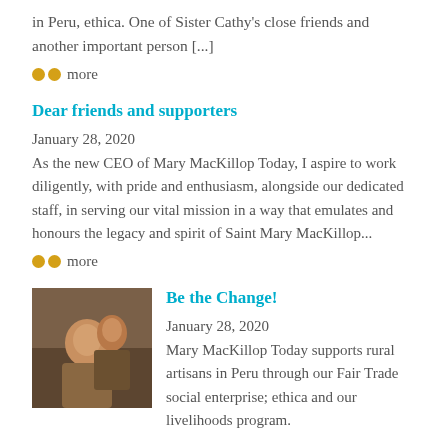in Peru, ethica. One of Sister Cathy's close friends and another important person [...]
•• more
Dear friends and supporters
January 28, 2020
As the new CEO of Mary MacKillop Today, I aspire to work diligently, with pride and enthusiasm, alongside our dedicated staff, in serving our vital mission in a way that emulates and honours the legacy and spirit of Saint Mary MacKillop...
•• more
Be the Change!
January 28, 2020
Mary MacKillop Today supports rural artisans in Peru through our Fair Trade social enterprise; ethica and our livelihoods program.